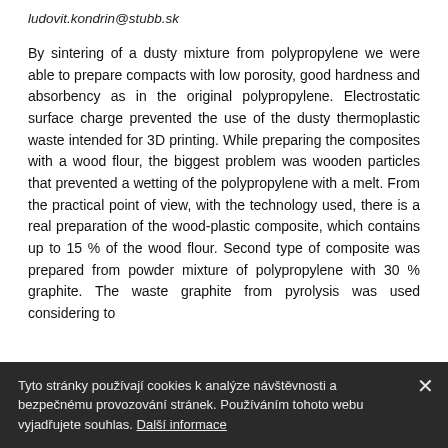ludovit.kondrin@stubb.sk
By sintering of a dusty mixture from polypropylene we were able to prepare compacts with low porosity, good hardness and absorbency as in the original polypropylene. Electrostatic surface charge prevented the use of the dusty thermoplastic waste intended for 3D printing. While preparing the composites with a wood flour, the biggest problem was wooden particles that prevented a wetting of the polypropylene with a melt. From the practical point of view, with the technology used, there is a real preparation of the wood-plastic composite, which contains up to 15 % of the wood flour. Second type of composite was prepared from powder mixture of polypropylene with 30 % graphite. The waste graphite from pyrolysis was used considering to
Tyto stránky používají cookies k analýze návštěvnosti a bezpečnému provozování stránek. Používáním tohoto webu vyjadřujete souhlas. Další informace